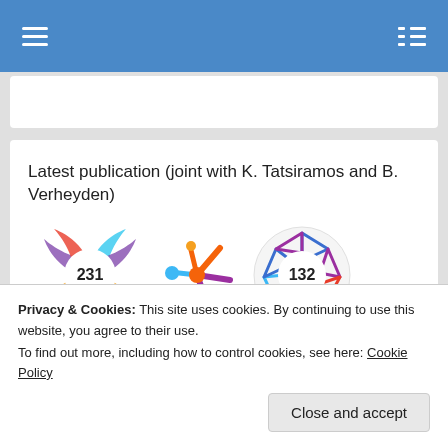Latest publication (joint with K. Tatsiramos and B. Verheyden)
[Figure (infographic): Three academic metric badges: a colorful swirl circle with '231', a star/asterisk shape in orange/purple/blue, and a geometric hexagon badge with '132']
Estimating worldwide effects of non-pharmaceutical interventions on COVID-19 incidence and population mobility patterns using a
Privacy & Cookies: This site uses cookies. By continuing to use this website, you agree to their use.
To find out more, including how to control cookies, see here: Cookie Policy
Close and accept